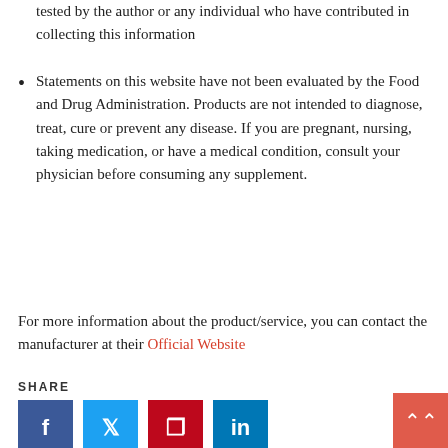tested by the author or any individual who have contributed in collecting this information
Statements on this website have not been evaluated by the Food and Drug Administration. Products are not intended to diagnose, treat, cure or prevent any disease. If you are pregnant, nursing, taking medication, or have a medical condition, consult your physician before consuming any supplement.
For more information about the product/service, you can contact the manufacturer at their Official Website
SHARE
[Figure (other): Social share buttons: Facebook, Twitter, Pinterest, LinkedIn]